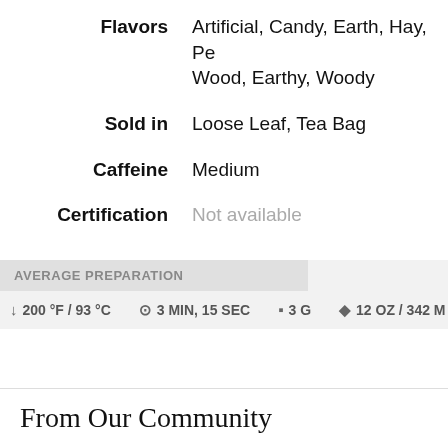| Label | Value |
| --- | --- |
| Flavors | Artificial, Candy, Earth, Hay, Pe... Wood, Earthy, Woody |
| Sold in | Loose Leaf, Tea Bag |
| Caffeine | Medium |
| Certification | Not available |
AVERAGE PREPARATION
200 °F / 93 °C   3 MIN, 15 SEC   3 G   12 OZ / 342 M
From Our Community